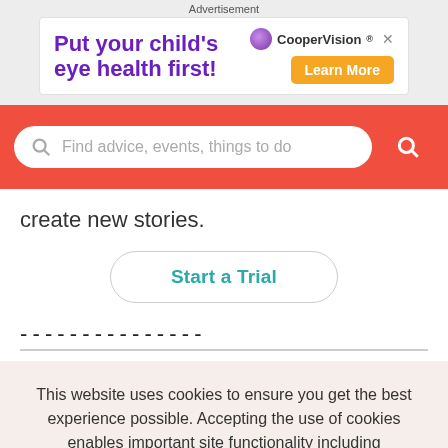Advertisement
[Figure (infographic): Advertisement banner: 'Put your child's eye health first!' with CooperVision logo and Learn More button]
[Figure (screenshot): Search bar with placeholder text 'Find advice, events, things to do' on red background with search button]
create new stories.
Start a Trial
This website uses cookies to ensure you get the best experience possible. Accepting the use of cookies enables important site functionality including personalization and analytics.
Accept
Decline